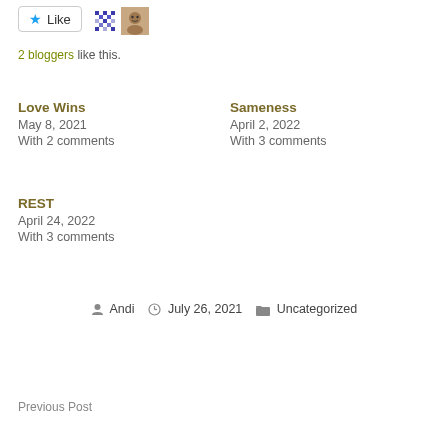[Figure (other): Like button with star icon and two blogger avatars]
2 bloggers like this.
Love Wins
May 8, 2021
With 2 comments
Sameness
April 2, 2022
With 3 comments
REST
April 24, 2022
With 3 comments
Andi  July 26, 2021  Uncategorized
Previous Post